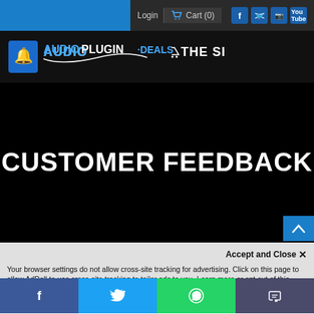Login  Cart (0)
[Figure (logo): AudioPlugin.Deals THE SHOP logo with shopping cart icon on dark background]
CUSTOMER FEEDBACK
Accept and Close ✕
Your browser settings do not allow cross-site tracking for advertising. Click on this page to allow AdRoll to use cross-site tracking to tailor ads to you. Learn more or opt out of this AdRoll tracking by clicking here. This message only appears once.
INSANE DEAL: Get 60% Off IK Multimedia
Facebook  Twitter  WhatsApp  SMS